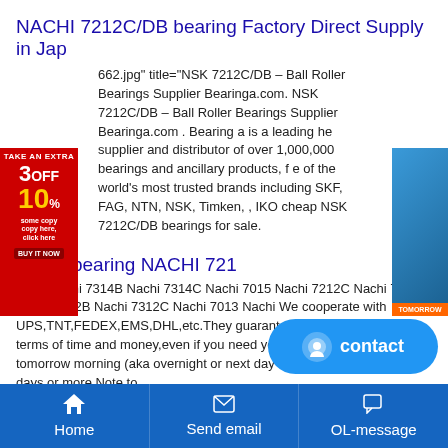NACHI 7212C/DB bearing Factory Direct Supply in Jap
662.jpg" title="NSK 7212C/DB – Ball Roller Bearings Supplier Bearinga.com. NSK 7212C/DB – Ball Roller Bearings Supplier Bearinga.com . Bearing a is a leading he supplier and distributor of over 1,000,000 bearings and ancillary products, f e of the world's most trusted brands including SKF, FAG, NTN, NSK, Timken, , IKO cheap NSK 7212C/DB bearings for sale.
[Figure (other): Red advertisement banner with '3 OFF 10%' and 'TAKE AN EXTRA' text]
[Figure (other): Blue advertisement banner with woman image]
7212Cbearing NACHI 721
7314 Nachi 7314B Nachi 7314C Nachi 7015 Nachi 7212C Nachi 7312 Nachi 7312B Nachi 7312C Nachi 7013 Nachi We cooperate with UPS,TNT,FEDEX,EMS,DHL,etc.They guarantee to meet your needs in terms of time and money,even if you need your 7212C bearing tomorrow morning (aka overnight or next day air) on your desk, 2, 3 days or more.Note to ...
NACHI 7210 bearing | 7210 Imported - howtosuckless.n
NACHI 7210 Bearing.HSK Bearing Co.Ltd specializes in selling bearings, NACHI 7210 bearing related information: Model: 7210 B NACHI, if you want to know more about NACHI 7210 Bearing for information, you
[Figure (other): Blue contact button with smiley face icon]
Home   Send email   OL-message